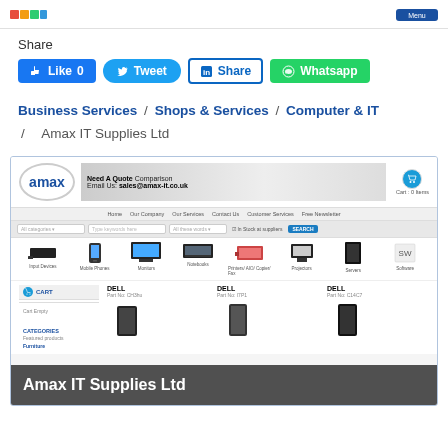Share
Like 0  Tweet  Share  Whatsapp
Business Services /  Shops & Services /  Computer & IT /  Amax IT Supplies Ltd
[Figure (screenshot): Screenshot of Amax IT Supplies Ltd website showing logo, banner with 'Need A Quote Comparison Email Us: sales@amax-it.co.uk', navigation menu, product categories (Input Devices, Mobile Phones, Monitors, Notebooks, Printers/AIO/Copier Fax, Projectors, Servers, Software), shopping cart section, DELL products, and categories panel. Bottom overlay shows 'Amax IT Supplies Ltd' text.]